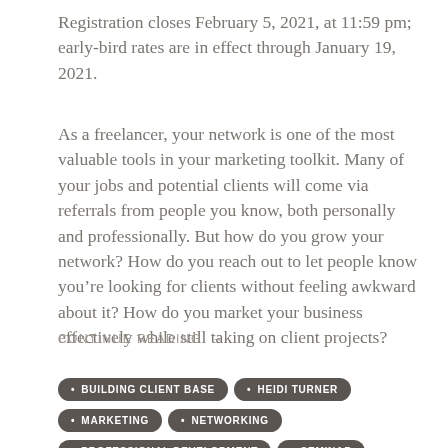Registration closes February 5, 2021, at 11:59 pm; early-bird rates are in effect through January 19, 2021.
As a freelancer, your network is one of the most valuable tools in your marketing toolkit. Many of your jobs and potential clients will come via referrals from people you know, both personally and professionally. But how do you grow your network? How do you reach out to let people know you’re looking for clients without feeling awkward about it? How do you market your business effectively while still taking on client projects?
CONTINUE READING →
BUILDING CLIENT BASE
HEIDI TURNER
MARKETING
NETWORKING
PROFESSIONAL DEVELOPMENT
SEMINAR